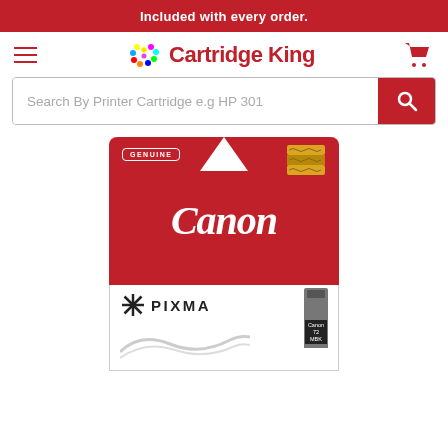Included with every order.
[Figure (logo): Cartridge King logo with colorful dot pattern and shopping cart icon, with hamburger menu and search bar]
[Figure (photo): Canon PIXMA 72 MBK ink cartridge product image showing red Canon branded box with GENUINE badge and PIXMA logo]